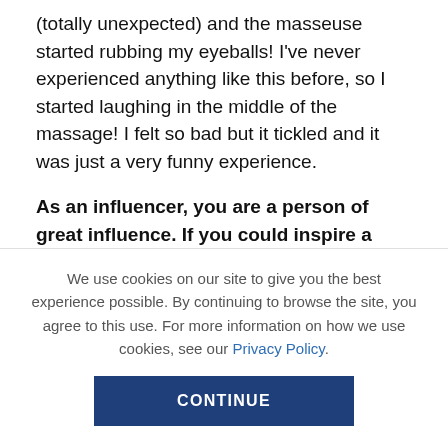(totally unexpected) and the masseuse started rubbing my eyeballs! I've never experienced anything like this before, so I started laughing in the middle of the massage! I felt so bad but it tickled and it was just a very funny experience.
As an influencer, you are a person of great influence. If you could inspire a movement that would bring the most amount of good to the most amount of people, what would that be? You never know what your idea can trigger.
We use cookies on our site to give you the best experience possible. By continuing to browse the site, you agree to this use. For more information on how we use cookies, see our Privacy Policy.
CONTINUE